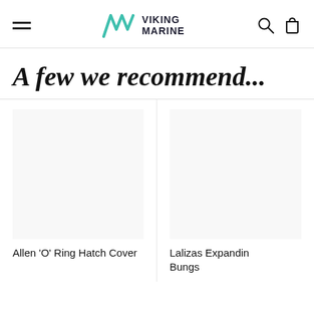Viking Marine
A few we recommend...
Allen 'O' Ring Hatch Cover
Lalizas Expanding Bungs